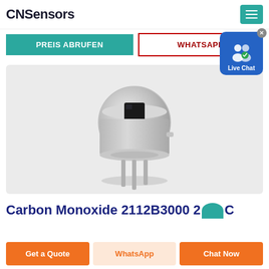CNSensors
PREIS ABRUFEN
WHATSAPP
[Figure (photo): A metal TO-5 style sensor component (pyroelectric or IR detector) with a square black sensing window on top and three metal pins at the bottom, photographed on a light grey background.]
Carbon Monoxide 2112B3000 2...C
Get a Quote
WhatsApp
Chat Now